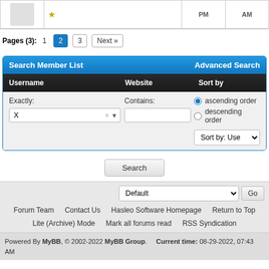| (avatar) |  | PM | AM |
| --- | --- | --- | --- |
|  |  | PM | AM |
Pages (3): 1 2 3 Next »
| Username | Website | Sort by |
| --- | --- | --- |
| Exactly: [X ▼] | Contains: [ ] | ● ascending order ○ descending order
Sort by: Use ▼ |
Search
Default ▼  Go
Forum Team   Contact Us   Hasleo Software Homepage   Return to Top
Lite (Archive) Mode   Mark all forums read   RSS Syndication
Powered By MyBB, © 2002-2022 MyBB Group.   Current time: 08-29-2022, 07:43 AM